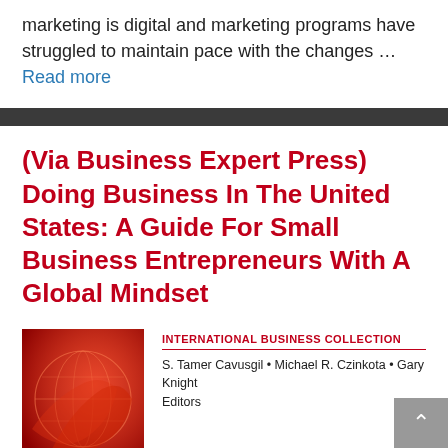marketing is digital and marketing programs have struggled to maintain pace with the changes … Read more
(Via Business Expert Press) Doing Business In The United States: A Guide For Small Business Entrepreneurs With A Global Mindset
[Figure (illustration): Book cover with a red-toned globe/international imagery for 'Doing Business In The United States']
INTERNATIONAL BUSINESS COLLECTION
S. Tamer Cavusgil • Michael R. Czinkota • Gary Knight
Editors